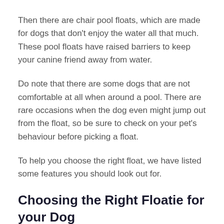Then there are chair pool floats, which are made for dogs that don't enjoy the water all that much. These pool floats have raised barriers to keep your canine friend away from water.
Do note that there are some dogs that are not comfortable at all when around a pool. There are rare occasions when the dog even might jump out from the float, so be sure to check on your pet's behaviour before picking a float.
To help you choose the right float, we have listed some features you should look out for.
Choosing the Right Floatie for your Dog